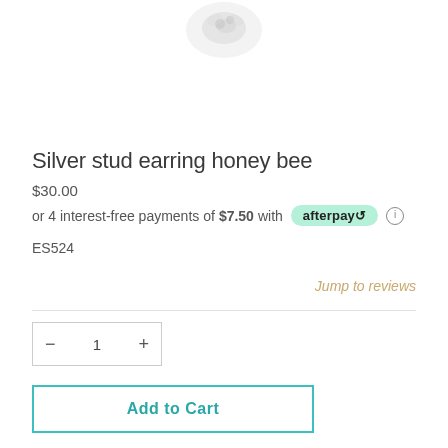[Figure (photo): Partial product image of silver stud earring honey bee, cropped at bottom of frame]
Silver stud earring honey bee
$30.00
or 4 interest-free payments of $7.50 with afterpay
ES524
Jump to reviews
1
Add to Cart